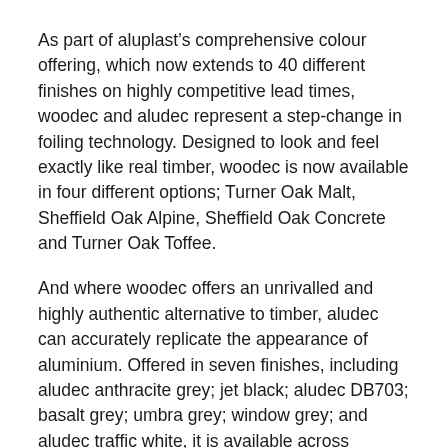As part of aluplast's comprehensive colour offering, which now extends to 40 different finishes on highly competitive lead times, woodec and aludec represent a step-change in foiling technology. Designed to look and feel exactly like real timber, woodec is now available in four different options; Turner Oak Malt, Sheffield Oak Alpine, Sheffield Oak Concrete and Turner Oak Toffee.
And where woodec offers an unrivalled and highly authentic alternative to timber, aludec can accurately replicate the appearance of aluminium. Offered in seven finishes, including aludec anthracite grey; jet black; aludec DB703; basalt grey; umbra grey; window grey; and aludec traffic white, it is available across aluplast's Ideal 70 and contemporary Ideal 4000 system as well as its new flush casement and flagship Smart-Slide inline sliding door.
“We have enjoyed a lot of growth over the last 12 months,” concludes Norman. “We’ve been able to put